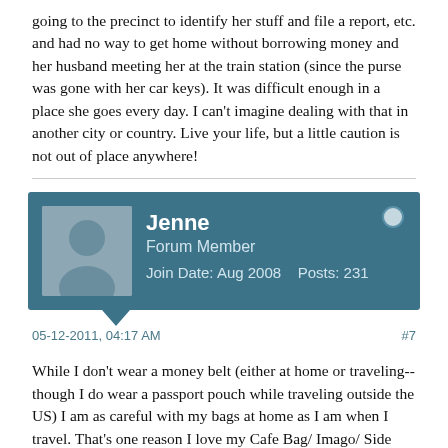going to the precinct to identify her stuff and file a report, etc. and had no way to get home without borrowing money and her husband meeting her at the train station (since the purse was gone with her car keys). It was difficult enough in a place she goes every day. I can't imagine dealing with that in another city or country. Live your life, but a little caution is not out of place anywhere!
Jenne
Forum Member
Join Date: Aug 2008    Posts: 231
05-12-2011, 04:17 AM    #7
While I don't wear a money belt (either at home or traveling-- though I do wear a passport pouch while traveling outside the US) I am as careful with my bags at home as I am when I travel. That's one reason I love my Cafe Bag/ Imago/ Side Effect. It's always either on me, or on the floor in front of me with the strap wrapped around my leg. (I'd rather have it a little dusty from the floor than stolen from the back of my chair!) My stuff is clipped in, so if the bottom were slashed, nothing too important would fall out. It is just easier to be it the habit all the time, then to